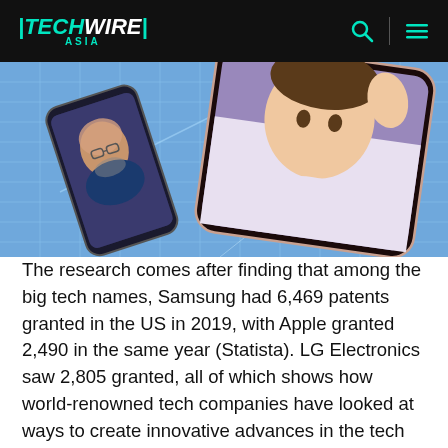TECHWIRE ASIA
[Figure (photo): Two smartphones shown on a blue grid background; one phone displays a video call with a bald man, the other shows a young man waving, illustrating mobile phone technology and video calling.]
The research comes after finding that among the big tech names, Samsung had 6,469 patents granted in the US in 2019, with Apple granted 2,490 in the same year (Statista). LG Electronics saw 2,805 granted, all of which shows how world-renowned tech companies have looked at ways to create innovative advances in the tech world.
“The world of mobile phones could have looked